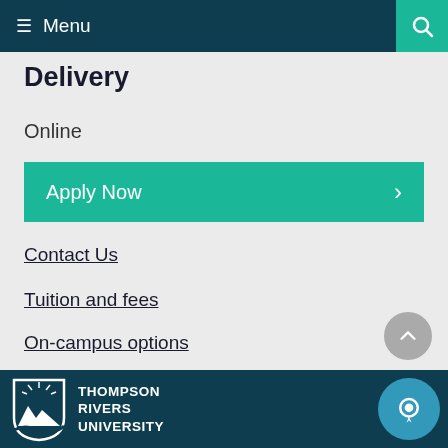Menu
Delivery
Online
Apply Now
Contact Us
Tuition and fees
On-campus options
THOMPSON RIVERS UNIVERSITY